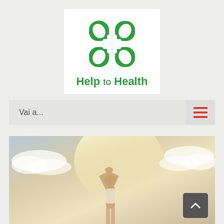[Figure (logo): Help to Health logo: green four-leaf clover / flower icon above text 'Help to Health' in green bold font on white background]
Vai a...
[Figure (photo): Person doing yoga pose with hands raised above head, silhouetted against a bright warm sky with clouds. Back-to-top arrow button visible in bottom right.]